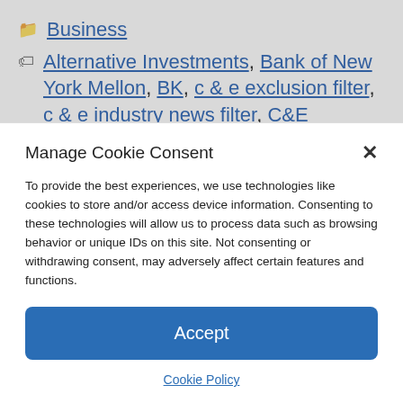Business
Alternative Investments, Bank of New York Mellon, BK, c & e exclusion filter, c & e industry news filter, C&E Exclusion Filter, C&E Industry News Filter, Chris Iacovella, commodity, Commodity/Financial Market
Manage Cookie Consent
To provide the best experiences, we use technologies like cookies to store and/or access device information. Consenting to these technologies will allow us to process data such as browsing behavior or unique IDs on this site. Not consenting or withdrawing consent, may adversely affect certain features and functions.
Accept
Cookie Policy